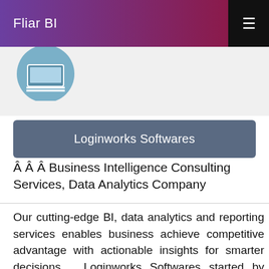Fliar BI
[Figure (logo): Company logo - circular blue icon with laptop/monitor symbol]
Loginworks Softwares
Â Â Â Business Intelligence Consulting Services, Data Analytics Company
Our cutting-edge BI, data analytics and reporting services enables business achieve competitive advantage with actionable insights for smarter decisions. . Loginworks Softwares started by Dheeraj Juneja and Preeti Juneja on 26-06-2015 and analytics service provider company Loginworks Softwares has cin no U72300UP2015PTC071631 and